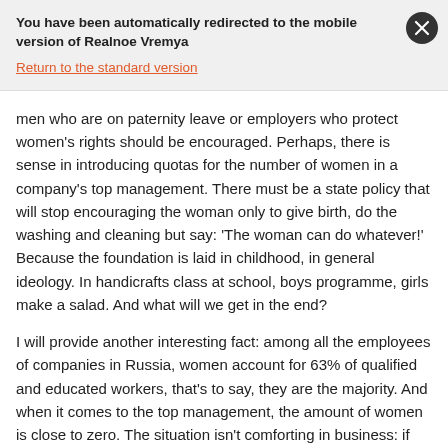You have been automatically redirected to the mobile version of Realnoe Vremya
Return to the standard version
men who are on paternity leave or employers who protect women's rights should be encouraged. Perhaps, there is sense in introducing quotas for the number of women in a company's top management. There must be a state policy that will stop encouraging the woman only to give birth, do the washing and cleaning but say: 'The woman can do whatever!' Because the foundation is laid in childhood, in general ideology. In handicrafts class at school, boys programme, girls make a salad. And what will we get in the end?
I will provide another interesting fact: among all the employees of companies in Russia, women account for 63% of qualified and educated workers, that's to say, they are the majority. And when it comes to the top management, the amount of women is close to zero. The situation isn't comforting in business: if only 20% of executives are women in small businesses, their number in the Russian top 200